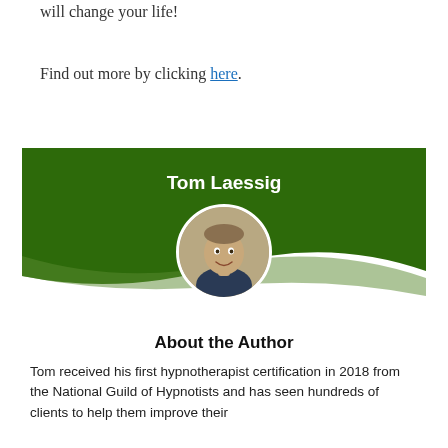will change your life!
Find out more by clicking here.
[Figure (illustration): Author card for Tom Laessig with dark green header banner, wavy green divider, circular headshot photo of a smiling man, followed by 'About the Author' section with biography text.]
About the Author
Tom received his first hypnotherapist certification in 2018 from the National Guild of Hypnotists and has seen hundreds of clients to help them improve their